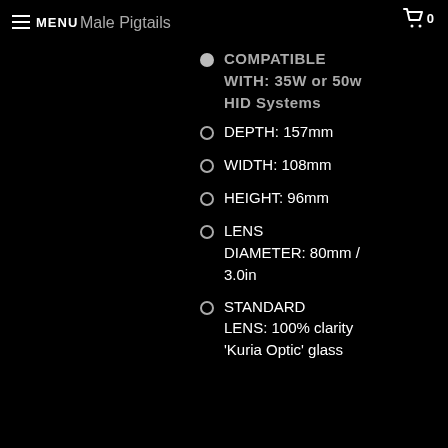MENU | Male Pigtails | 0
COMPATIBLE WITH: 35W or 50w HID Systems
DEPTH: 157mm
WIDTH: 108mm
HEIGHT: 96mm
LENS DIAMETER: 80mm / 3.0in
STANDARD LENS: 100% clarity 'Kuria Optic' glass